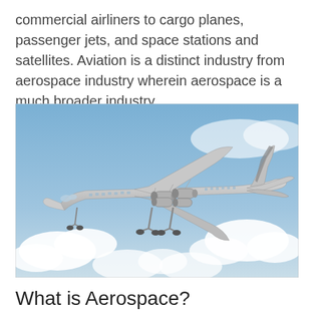commercial airliners to cargo planes, passenger jets, and space stations and satellites. Aviation is a distinct industry from aerospace industry wherein aerospace is a much broader industry.
[Figure (photo): A gray twin-engine regional jet aircraft (similar to BAe 146 or Avro RJ) in flight against a partly cloudy blue sky, with landing gear extended, viewed from below-side angle.]
What is Aerospace?